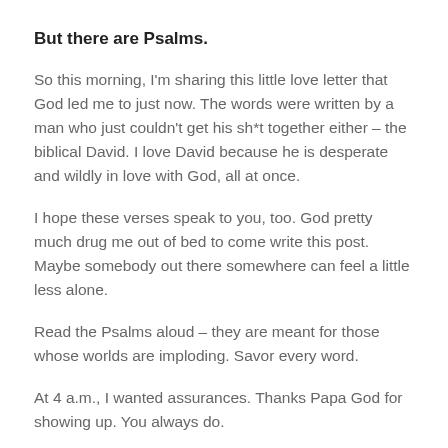But there are Psalms.
So this morning, I'm sharing this little love letter that God led me to just now. The words were written by a man who just couldn't get his sh*t together either – the biblical David. I love David because he is desperate and wildly in love with God, all at once.
I hope these verses speak to you, too. God pretty much drug me out of bed to come write this post. Maybe somebody out there somewhere can feel a little less alone.
Read the Psalms aloud – they are meant for those whose worlds are imploding. Savor every word.
At 4 a.m., I wanted assurances. Thanks Papa God for showing up. You always do.